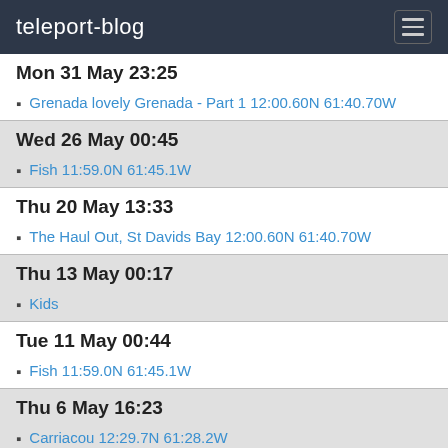teleport-blog
Mon 31 May 23:25
Grenada lovely Grenada - Part 1 12:00.60N 61:40.70W
Wed 26 May 00:45
Fish 11:59.0N 61:45.1W
Thu 20 May 13:33
The Haul Out, St Davids Bay 12:00.60N 61:40.70W
Thu 13 May 00:17
Kids
Tue 11 May 00:44
Fish 11:59.0N 61:45.1W
Thu 6 May 16:23
Carriacou 12:29.7N 61:28.2W
Tue 4 May 01:06
World according to Cosmo 12:27.5N 61:29.5W
Sat 1 May 16:58